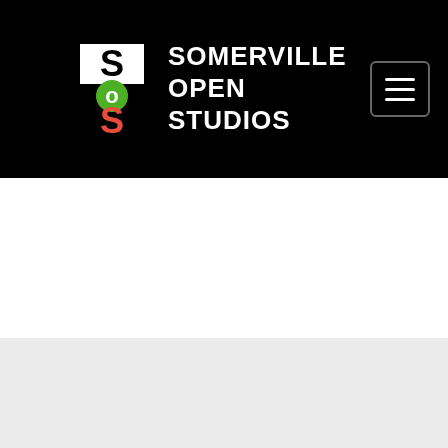SOMERVILLE OPEN STUDIOS
[Figure (photo): Partial view of a colorful painting with flowers and blue/orange tones]
In Person 2022  Map#: 44
Vernon Street Studios (Mask Recommended)
6 Vernon Street : 9
[Figure (illustration): Artist thumbnail: Debra Olin - monoprint/woodcut showing organic brain-like form with dark line work]
Debra Olin
Monoprint & woodcut/collage
In Person 2022  Map#: 66
Mad Oyster Studios (Mask Required)
2 Bradley Street : G 2
[Figure (photo): Artist thumbnail: Hiroshi Minato - Men's Contemporary Jewelry, partial image visible]
Hiroshi Minato
Men's Contemporary Jewelry